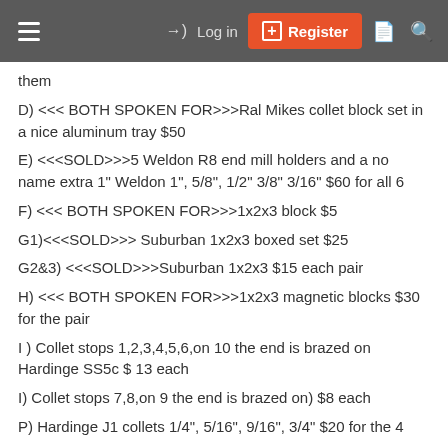Log in | Register
them
D) <<< BOTH SPOKEN FOR>>>Ral Mikes collet block set in a nice aluminum tray $50
E) <<<SOLD>>>5 Weldon R8 end mill holders and a no name extra 1" Weldon 1", 5/8", 1/2" 3/8" 3/16" $60 for all 6
F) <<< BOTH SPOKEN FOR>>>1x2x3 block $5
G1)<<<SOLD>>> Suburban 1x2x3 boxed set $25
G2&3) <<<SOLD>>>Suburban 1x2x3 $15 each pair
H) <<< BOTH SPOKEN FOR>>>1x2x3 magnetic blocks $30 for the pair
I ) Collet stops 1,2,3,4,5,6,on 10 the end is brazed on Hardinge SS5c $ 13 each
I) Collet stops 7,8,on 9 the end is brazed on) $8 each
P) Hardinge J1 collets 1/4", 5/16", 9/16", 3/4" $20 for the 4